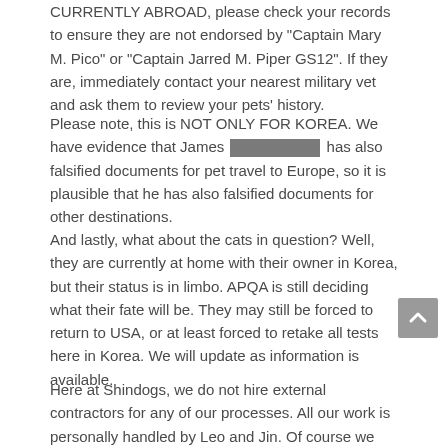CURRENTLY ABROAD, please check your records to ensure they are not endorsed by "Captain Mary M. Pico" or "Captain Jarred M. Piper GS12". If they are, immediately contact your nearest military vet and ask them to review your pets' history.
Please note, this is NOT ONLY FOR KOREA. We have evidence that James [REDACTED] has also falsified documents for pet travel to Europe, so it is plausible that he has also falsified documents for other destinations.
And lastly, what about the cats in question? Well, they are currently at home with their owner in Korea, but their status is in limbo. APQA is still deciding what their fate will be. They may still be forced to return to USA, or at least forced to retake all tests here in Korea. We will update as information is available.
Here at Shindogs, we do not hire external contractors for any of our processes. All our work is personally handled by Leo and Jin. Of course we have advantage that Korea is a small country, so we understand the same policy is not realistic in a